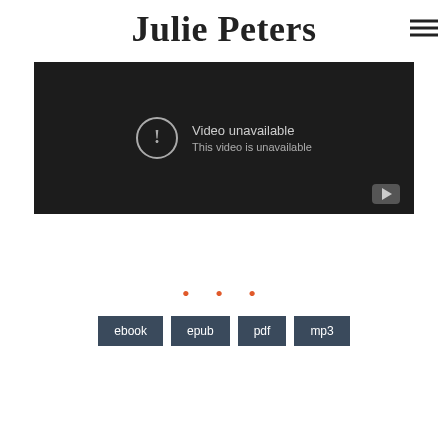Julie Peters
[Figure (screenshot): Video unavailable placeholder from YouTube: dark background with exclamation mark in circle, text 'Video unavailable' and 'This video is unavailable', YouTube logo in bottom right corner.]
• • •
ebook  epub  pdf  mp3